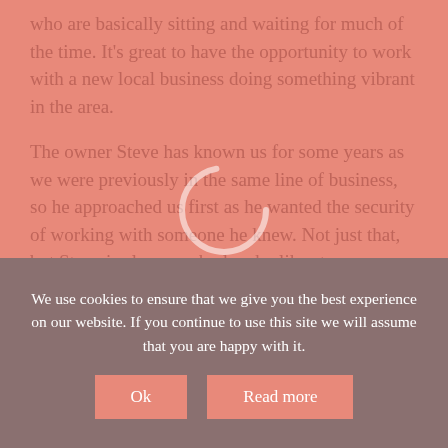who are basically sitting and waiting for much of the time. It's great to have the opportunity to work with a new local business doing something vibrant in the area.
The owner Steve has known us for some years as we were previously in the same line of business, so he approached us first as he wanted the security of working with someone he knew. Not just that, but Steve is also somebody who likes to engage with other local businesses to increase and ensure mutual and future networking.
We use cookies to ensure that we give you the best experience on our website. If you continue to use this site we will assume that you are happy with it.